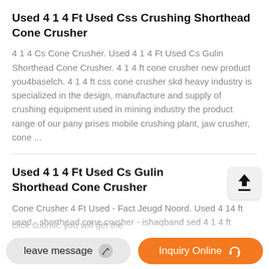Used 4 1 4 Ft Used Css Crushing Shorthead Cone Crusher
4 1 4 Cs Cone Crusher. Used 4 1 4 Ft Used Cs Gulin Shorthead Cone Crusher. 4 1 4 ft cone crusher new product you4baselch. 4 1 4 ft css cone crusher skd heavy industry is specialized in the design, manufacture and supply of crushing equipment used in mining industry the product range of our pany prises mobile crushing plant, jaw crusher, cone ...
Used 4 1 4 Ft Used Cs Gulin Shorthead Cone Crusher
Cone Crusher 4 Ft Used - Fact Jeugd Noord. Used 4 14 ft used - shorthead cone crusher - ishaqband sed 4 1 4 ft
click submit, you will get the